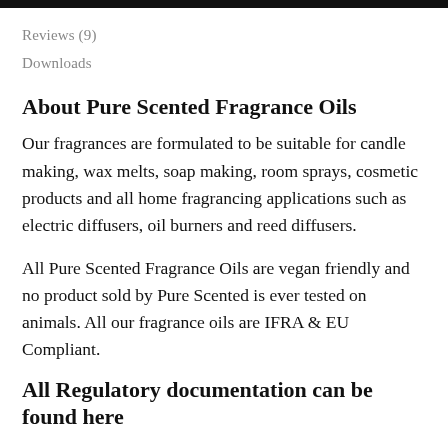Reviews (9)
Downloads
About Pure Scented Fragrance Oils
Our fragrances are formulated to be suitable for candle making, wax melts, soap making, room sprays, cosmetic products and all home fragrancing applications such as electric diffusers, oil burners and reed diffusers.
All Pure Scented Fragrance Oils are vegan friendly and no product sold by Pure Scented is ever tested on animals. All our fragrance oils are IFRA & EU Compliant.
All Regulatory documentation can be found here